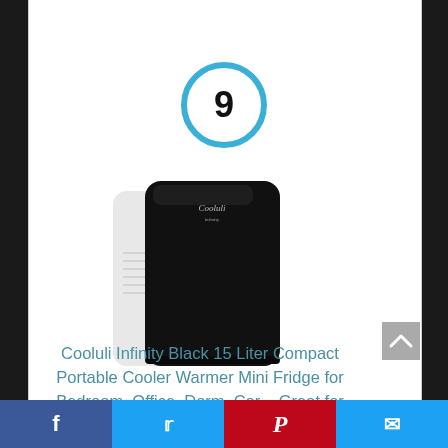[Figure (other): Number 9 inside a blue circle badge]
[Figure (photo): Cooluli Infinity Black compact mini fridge/cooler warmer product photo - black rectangular appliance with rounded corners and white sides]
Cooluli Infinity Black 15 Liter Compact Portable Cooler Warmer Mini Fridge for Bedroom, Office, Dorm, Car – Great for
Facebook Twitter Pinterest Email